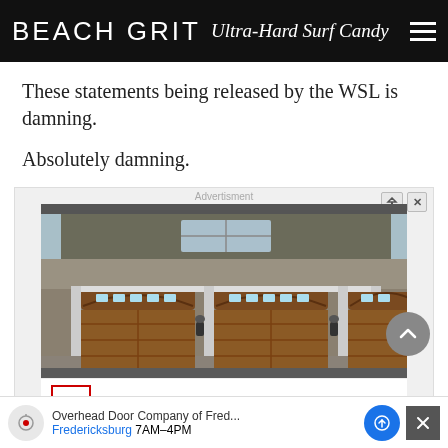BEACH GRIT Ultra-Hard Surf Candy
These statements being released by the WSL is damning.
Absolutely damning.
[Figure (screenshot): Advertisement for Overhead Door Company showing a house with three large wooden arched garage doors. Below the photo is the Overhead Door Company logo and brand name with trademark symbol.]
Overhead Door Company of Fred... Fredericksburg 7AM-4PM